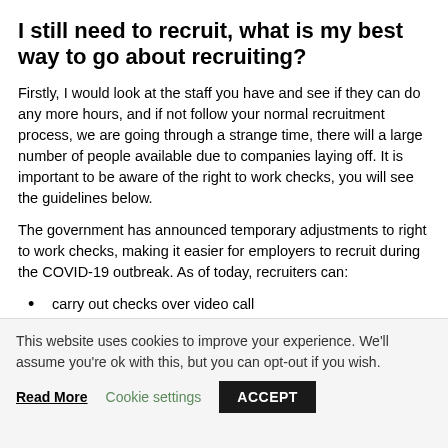I still need to recruit, what is my best way to go about recruiting?
Firstly, I would look at the staff you have and see if they can do any more hours, and if not follow your normal recruitment process, we are going through a strange time, there will a large number of people available due to companies laying off. It is important to be aware of the right to work checks, you will see the guidelines below.
The government has announced temporary adjustments to right to work checks, making it easier for employers to recruit during the COVID-19 outbreak. As of today, recruiters can:
carry out checks over video call
accept scanned documents or photos of documents as evidence
This website uses cookies to improve your experience. We'll assume you're ok with this, but you can opt-out if you wish. Read More Cookie settings ACCEPT